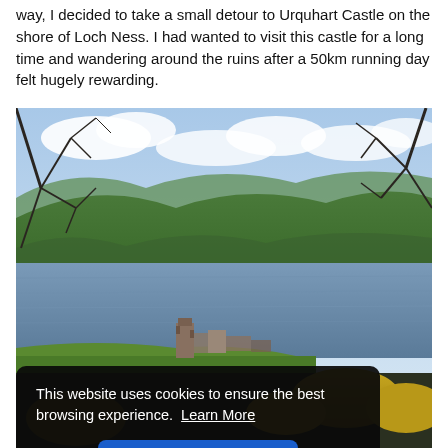way, I decided to take a small detour to Urquhart Castle on the shore of Loch Ness. I had wanted to visit this castle for a long time and wandering around the ruins after a 50km running day felt hugely rewarding.
[Figure (photo): Photograph of Urquhart Castle ruins on the shore of Loch Ness, with green hills in the background, bare tree branches in the foreground, blue sky with clouds, and yellow gorse bushes at the bottom]
This website uses cookies to ensure the best browsing experience. Learn More
Got it!